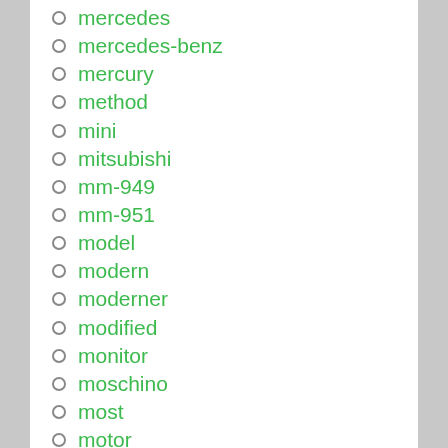mercedes
mercedes-benz
mercury
method
mini
mitsubishi
mm-949
mm-951
model
modern
moderner
modified
monitor
moschino
most
motor
motorcraft
motorcycle
musar